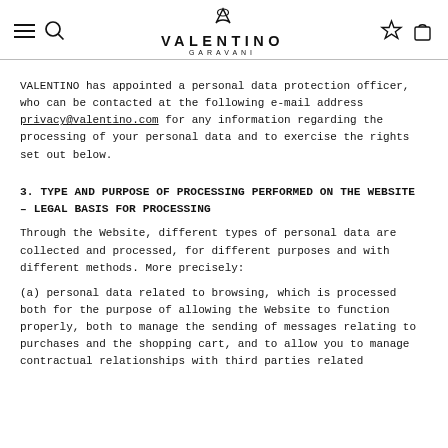VALENTINO GARAVANI [logo, search, star, bag icons]
VALENTINO has appointed a personal data protection officer, who can be contacted at the following e-mail address privacy@valentino.com for any information regarding the processing of your personal data and to exercise the rights set out below.
3. TYPE AND PURPOSE OF PROCESSING PERFORMED ON THE WEBSITE – LEGAL BASIS FOR PROCESSING
Through the Website, different types of personal data are collected and processed, for different purposes and with different methods. More precisely:
(a) personal data related to browsing, which is processed both for the purpose of allowing the Website to function properly, both to manage the sending of messages relating to purchases and the shopping cart, and to allow you to manage contractual relationships with third parties related